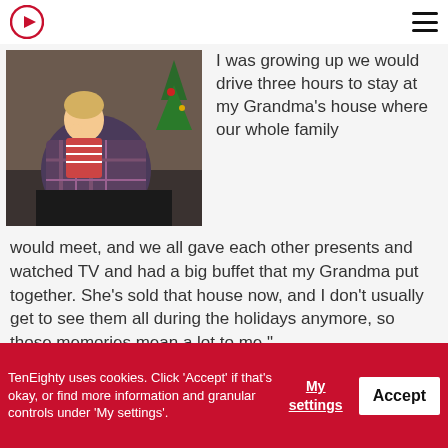TenEighty logo and navigation menu
[Figure (photo): A man sitting on the floor holding a young blonde child, in front of a fireplace with Christmas decorations.]
I was growing up we would drive three hours to stay at my Grandma's house where our whole family would meet, and we all gave each other presents and watched TV and had a big buffet that my Grandma put together. She's sold that house now, and I don't usually get to see them all during the holidays anymore, so those memories mean a lot to me."
TenEighty uses cookies. Click 'Accept' if that's okay, or find more information and granular controls under 'My settings'.